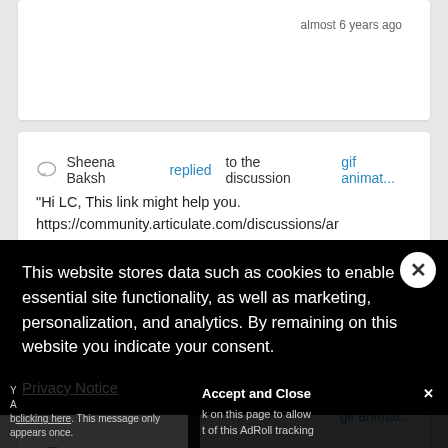almost 6 years ago
Sheena Baksh replied to the discussion gif animat...
"Hi LC, This link might help you. https://community.articulate.com/discussions/articulate-presenter/animated-gifs-not-working"
...ears ago
gif animat...
v file?
This website stores data such as cookies to enable essential site functionality, as well as marketing, personalization, and analytics. By remaining on this website you indicate your consent.
Privacy Notice
Accept and Close ✕
k on this page to allow t of this AdRoll tracking
Y A b clicking here. This message only appears once.